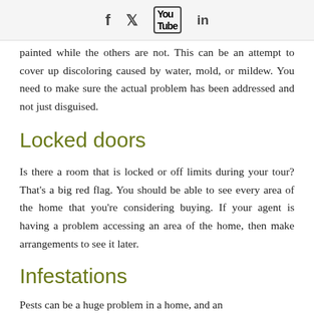Social media icons: Facebook, Twitter, YouTube, LinkedIn
painted while the others are not. This can be an attempt to cover up discoloring caused by water, mold, or mildew. You need to make sure the actual problem has been addressed and not just disguised.
Locked doors
Is there a room that is locked or off limits during your tour? That's a big red flag. You should be able to see every area of the home that you're considering buying. If your agent is having a problem accessing an area of the home, then make arrangements to see it later.
Infestations
Pests can be a huge problem in a home, and an